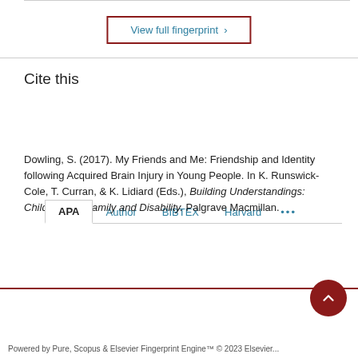View full fingerprint ›
Cite this
APA  Author  BIBTEX  Harvard  •••
Dowling, S. (2017). My Friends and Me: Friendship and Identity following Acquired Brain Injury in Young People. In K. Runswick-Cole, T. Curran, & K. Lidiard (Eds.), Building Understandings: Child, Youth, Family and Disability. Palgrave Macmillan.
Powered by Pure, Scopus & Elsevier Fingerprint Engine™ © 2023 Elsevier...